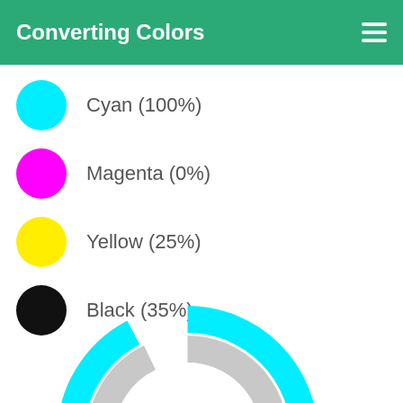Converting Colors
Cyan (100%)
Magenta (0%)
Yellow (25%)
Black (35%)
[Figure (donut-chart): A donut/ring chart showing CMY color components. Outer ring is cyan (large arc), middle ring is gray/black (large arc), inner arc shows yellow and magenta small arcs. Center label reads CMY.]